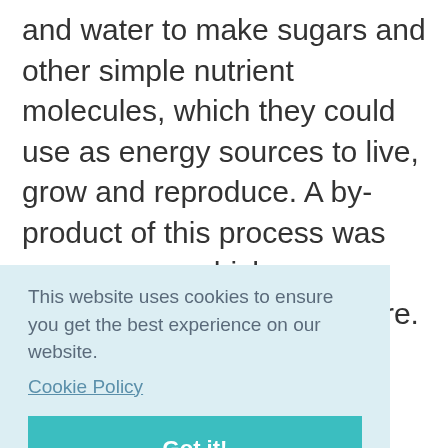and water to make sugars and other simple nutrient molecules, which they could use as energy sources to live, grow and reproduce. A by-product of this process was oxygen gas, which was released into the atmosphere. Because of the activity of these early photosynthetic bacteria, the Earth's atmosphere now contains around 20% oxygen and many living things, including humans, depend on it.
This website uses cookies to ensure you get the best experience on our website.
Cookie Policy
Got it!